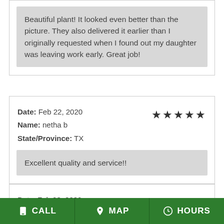Beautiful plant! It looked even better than the picture. They also delivered it earlier than I originally requested when I found out my daughter was leaving work early. Great job!
Date: Feb 22, 2020
Name: netha b
State/Province: TX
★★★★★
Excellent quality and service!!
Date: Feb 03, 2020
CALL  MAP  HOURS